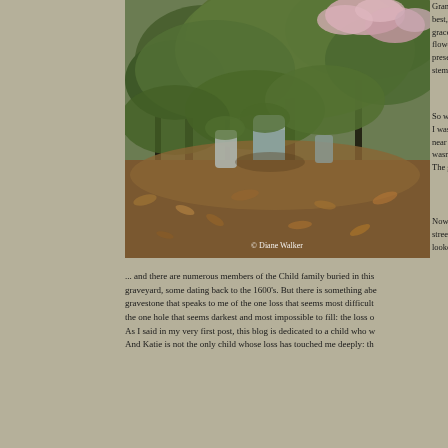[Figure (photo): Photograph of a graveyard with old headstones surrounded by lush green trees and pink hydrangea flowers, fallen leaves on the ground. Copyright watermark reads '© Diane Walker'.]
Grandiflora hydra best, but in New E graceful shape of a flowers turn a love preserve the pink ( stem in a soda bot
So when I drove to I was delighted to near a patch of gra wasn't until I got h The grave says, sir
Now you need to k street from the gra looked like that lo
... and there are numerous members of the Child family buried in this graveyard, some dating back to the 1600's. But there is something abo gravestone that speaks to me of the one loss that seems most difficult the one hole that seems darkest and most impossible to fill: the loss o As I said in my very first post, this blog is dedicated to a child who w And Katie is not the only child whose loss has touched me deeply: th